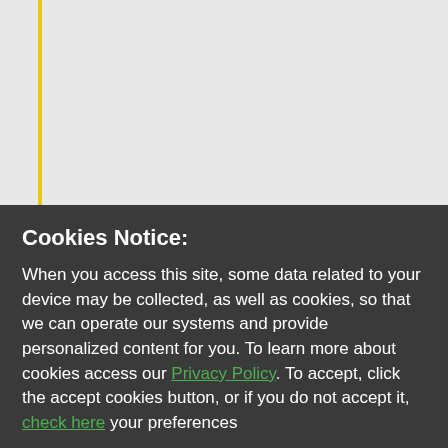[url=http://gta-center.de... center.de/forum/index...
[url=http://www.appletv... Television/The-Apple-T...
[url=http://pangosoft.cr... Connection: close Dat... Microsoft //3/3.Y.D...
Cookies Notice:
When you access this site, some data related to your device may be collected, as well as cookies, so that we can operate our systems and provide personalized content for you. To learn more about cookies access our Privacy Policy. To accept, click the accept cookies button, or if you do not accept it, check here your preferences